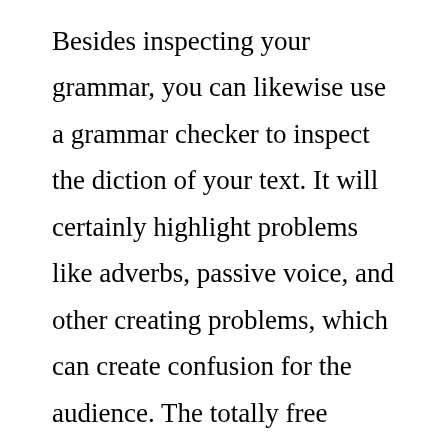Besides inspecting your grammar, you can likewise use a grammar checker to inspect the diction of your text. It will certainly highlight problems like adverbs, passive voice, and other creating problems, which can create confusion for the audience. The totally free variations will certainly likewise highlight your design and punctuation. If you have a Mac or Windows computer system, you can utilize a complimentary test of this grammar checker. This will allow you see the blunders highlighted as well as assist you enhance your